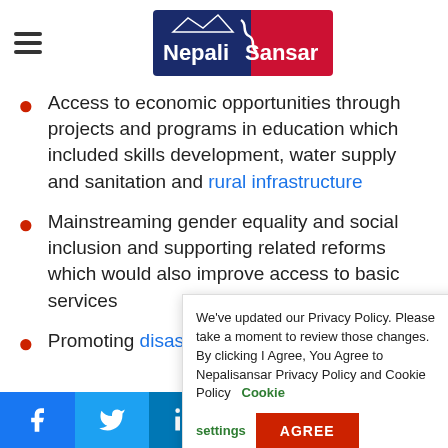[Figure (logo): NepaliSansar logo with mountain silhouette, dark blue and red background]
Access to economic opportunities through projects and programs in education which included skills development, water supply and sanitation and rural infrastructure
Mainstreaming gender equality and social inclusion and supporting related reforms which would also improve access to basic services
Promoting ... disaster ... and know...
We've updated our Privacy Policy. Please take a moment to review those changes. By clicking I Agree, You Agree to Nepalisansar Privacy Policy and Cookie Policy   Cookie settings   AGREE